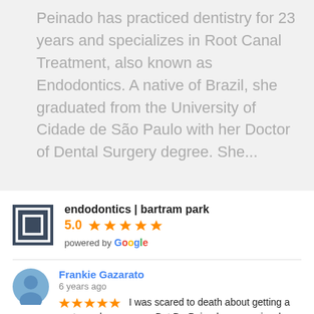Peinado has practiced dentistry for 23 years and specializes in Root Canal Treatment, also known as Endodontics. A native of Brazil, she graduated from the University of Cidade de São Paulo with her Doctor of Dental Surgery degree. She...
[Figure (logo): Square business logo icon with nested squares]
endodontics | bartram park
5.0 ★★★★★
powered by Google
[Figure (illustration): Blue circular avatar with person silhouette icon for reviewer Frankie Gazarato]
Frankie Gazarato
6 years ago
★★★★★ I was scared to death about getting a root canal so young... But Dr. Peinado was seriously the BEST doctor, I've had. She was so gentle and had given